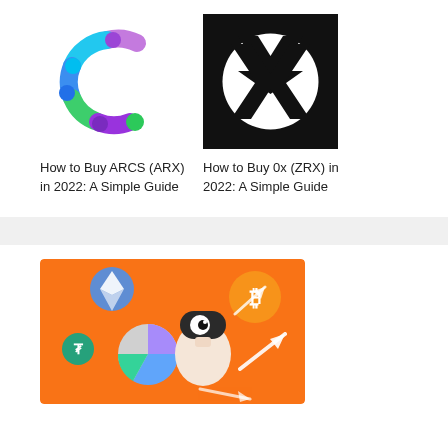[Figure (logo): ARCS colorful circular logo with colored dots]
How to Buy ARCS (ARX) in 2022: A Simple Guide
[Figure (logo): 0x (ZRX) black square logo with white X symbol inside a circle]
How to Buy 0x (ZRX) in 2022: A Simple Guide
[Figure (illustration): Orange background illustration with a robot, Bitcoin coin, Ethereum coin, Tether coin, and pie chart with upward arrows]